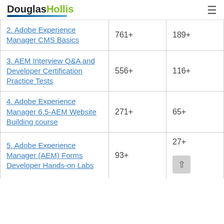DouglasHollis
| Course | Students | Reviews |
| --- | --- | --- |
| 2. Adobe Experience Manager CMS Basics | 761+ | 189+ |
| 3. AEM Interview Q&A and Developer Certification Practice Tests | 556+ | 116+ |
| 4. Adobe Experience Manager 6.5-AEM Website Building course | 271+ | 65+ |
| 5. Adobe Experience Manager (AEM) Forms Developer Hands-on Labs | 93+ | 27+ |